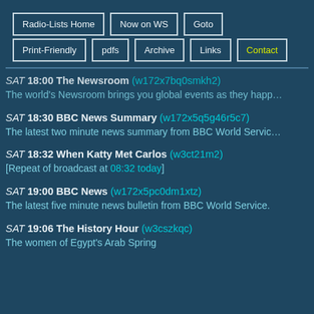Radio-Lists Home
Now on WS
Goto
Print-Friendly
pdfs
Archive
Links
Contact
SAT 18:00 The Newsroom (w172x7bq0smkh2)
The world's Newsroom brings you global events as they happ…
SAT 18:30 BBC News Summary (w172x5q5g46r5c7)
The latest two minute news summary from BBC World Servic…
SAT 18:32 When Katty Met Carlos (w3ct21m2)
[Repeat of broadcast at 08:32 today]
SAT 19:00 BBC News (w172x5pc0dm1xtz)
The latest five minute news bulletin from BBC World Service.
SAT 19:06 The History Hour (w3cszkqc)
The women of Egypt's Arab Spring